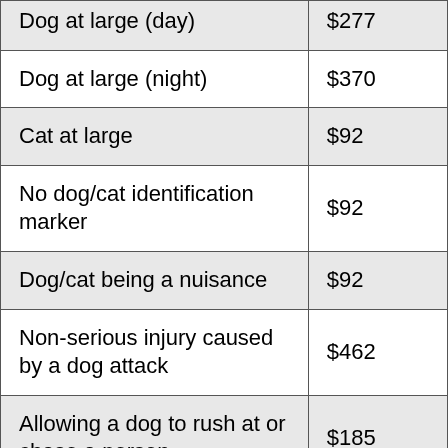| Offence | Fine |
| --- | --- |
| Dog at large (day) | $277 |
| Dog at large (night) | $370 |
| Cat at large | $92 |
| No dog/cat identification marker | $92 |
| Dog/cat being a nuisance | $92 |
| Non-serious injury caused by a dog attack | $462 |
| Allowing a dog to rush at or chase a person | $185 |